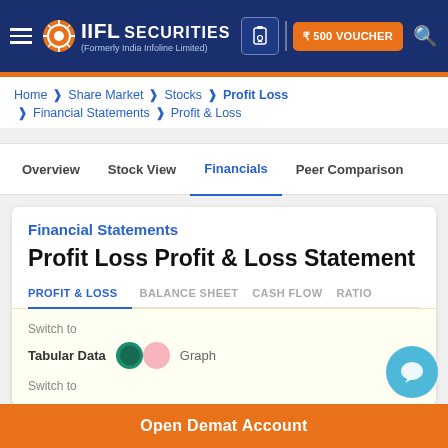IIFL Securities (Formerly India Infoline Limited) — ₹500 VOUCHER
Home > Share Market > Stocks > Profit Loss > Financial Statements > Profit & Loss
Overview | Stock View | Financials | Peer Comparison
Financial Statements
Profit Loss Profit & Loss Statement
PROFIT & LOSS  BALANCE SHEET  CASH FLOW  RATIO
Switch to
Tabular Data  [toggle]  Graph
Switch to
Open Demat Account